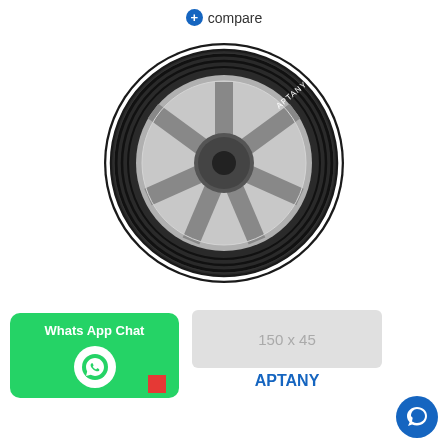+ compare
[Figure (photo): A Aptany brand car tire with silver alloy wheel, showing tread pattern and white lettering on the sidewall, photographed on white background]
[Figure (other): Whats App Chat button with green background and WhatsApp icon]
[Figure (other): Placeholder image box showing '150 x 45' in gray]
APTANY